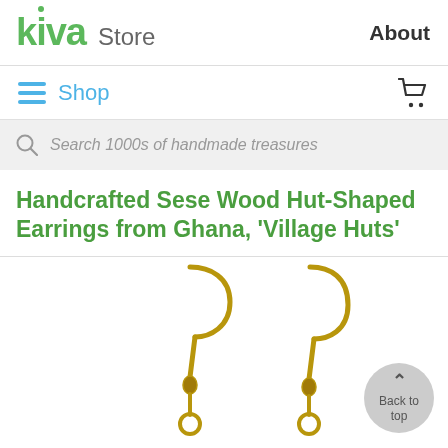kiva Store  About
Shop
Search 1000s of handmade treasures
Handcrafted Sese Wood Hut-Shaped Earrings from Ghana, 'Village Huts'
[Figure (photo): Two gold-tone hook earrings with small rings, photographed against a white background. Partial view, earrings cut off at bottom of page.]
Back to top